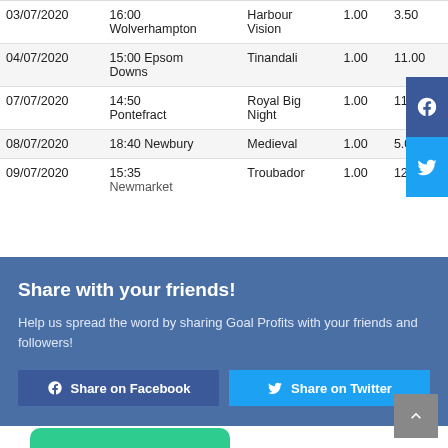| Date | Time Venue | Horse | Stake | SP |  |
| --- | --- | --- | --- | --- | --- |
| 03/07/2020 | 16:00 Wolverhampton | Harbour Vision | 1.00 | 3.50 | - |
| 04/07/2020 | 15:00 Epsom Downs | Tinandali | 1.00 | 11.00 | - |
| 07/07/2020 | 14:50 Pontefract | Royal Big Night | 1.00 | 11.00 |  |
| 08/07/2020 | 18:40 Newbury | Medieval | 1.00 | 5.00 |  |
| 09/07/2020 | 15:35 Newmarket | Troubador | 1.00 | 12.00 | - |
Share with your friends!
Help us spread the word by sharing Goal Profits with your friends and followers!
Share on Facebook  Share on Twitter
Showing 1 to 10 of 26 entries  < Previous  Next >